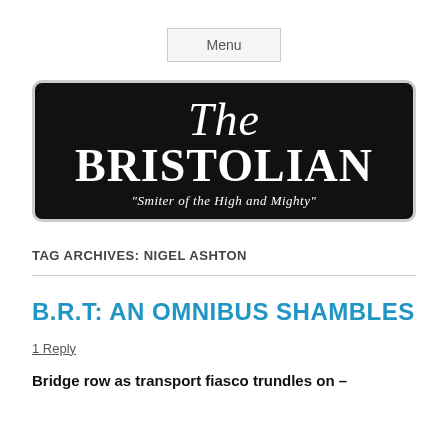Menu
[Figure (logo): The Bristolian newspaper logo — black rounded rectangle with white serif text reading 'The BRISTOLIAN' and italic tagline '"Smiter of the High and Mighty"']
TAG ARCHIVES: NIGEL ASHTON
B.R.T: AN OMNIBUS SHAMBLES
1 Reply
Bridge row as transport fiasco trundles on –